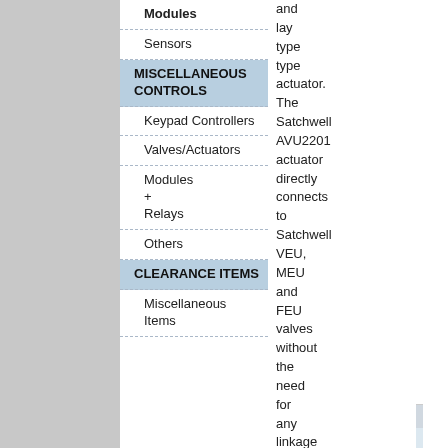Modules
Sensors
MISCELLANEOUS CONTROLS
Keypad Controllers
Valves/Actuators
Modules
+ Relays
Others
CLEARANCE ITEMS
Miscellaneous Items
and lay type type actuator. The Satchwell AVU2201 actuator directly connects to Satchwell VEU, MEU and FEU valves without the need for any linkage kits or mounting brackets.
·
| Grade Price |
| --- |
| As new |